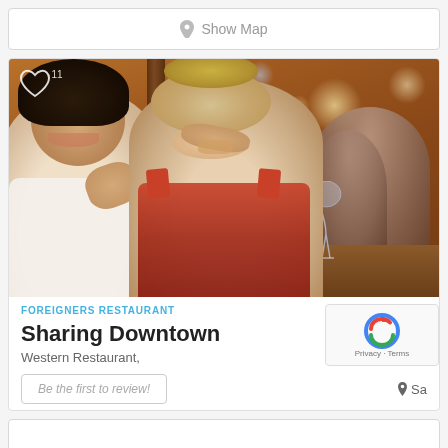Show Map
[Figure (photo): Two women dining at a warm, rustic restaurant. One woman with curly dark hair smiles while eating, wearing a white top. Another woman with blonde hair in a bun eats from her hand, wearing an orange/red top. Wine glasses and a plate of food are on the table. Other diners are visible in the background.]
FOREIGNERS RESTAURANT
Sharing Downtown
Western Restaurant,
Be the first to review!
Sa